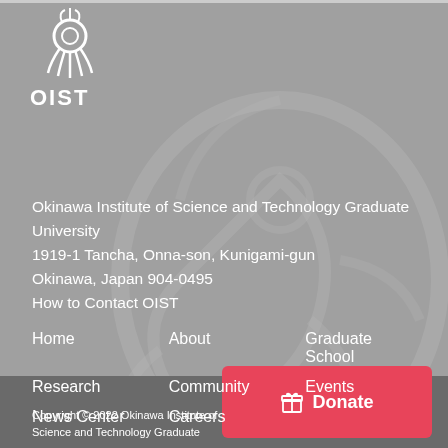[Figure (logo): OIST logo with octopus/neuron decorative icon and OIST text in white]
Okinawa Institute of Science and Technology Graduate University
1919-1 Tancha, Onna-son, Kunigami-gun
Okinawa, Japan 904-0495
How to Contact OIST
Home
About
Graduate School
Research
Community
Events
News Center
Careers
Copyright © 2022 Okinawa Institute of Science and Technology Graduate
[Figure (other): Red Donate button with gift icon]